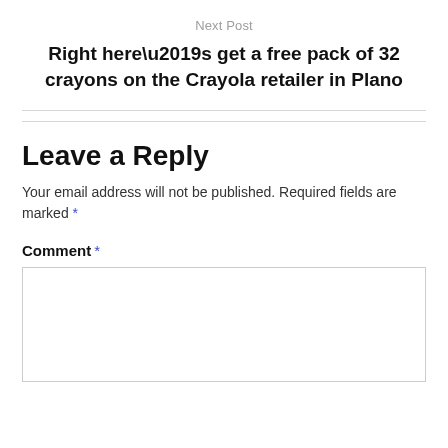Next Post
Right here’s get a free pack of 32 crayons on the Crayola retailer in Plano
Leave a Reply
Your email address will not be published. Required fields are marked *
Comment *